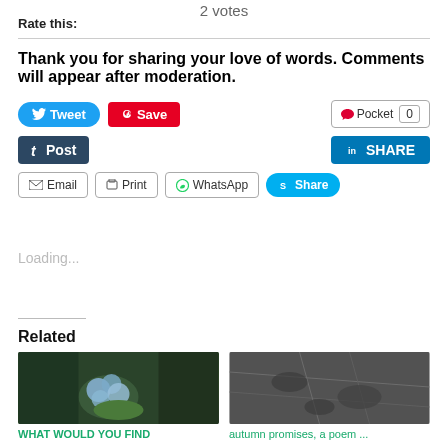2 votes
Rate this:
Thank you for sharing your love of words. Comments will appear after moderation.
[Figure (screenshot): Social sharing buttons: Tweet (blue), Save (red Pinterest), Pocket (with count 0), Post (Tumblr dark blue), SHARE (LinkedIn blue), Email (outline), Print (outline), WhatsApp (outline), Share (Skype blue)]
Loading...
Related
[Figure (photo): Photo of a blue hydrangea flower in a garden with dark green foliage]
WHAT WOULD YOU FIND
[Figure (photo): Black and white photo of tile/pavement with fallen leaves]
autumn promises, a poem ...